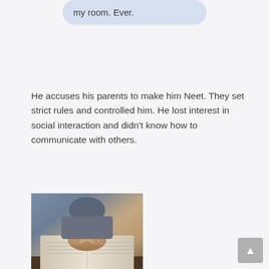my room. Ever.
He accuses his parents to make him Neet. They set strict rules and controlled him. He lost interest in social interaction and didn't know how to communicate with others.
[Figure (photo): Person with hands clasped resting on an open book, viewed from above, wearing a blue-grey sweater]